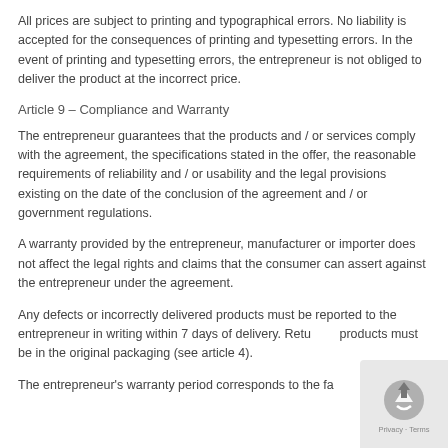All prices are subject to printing and typographical errors. No liability is accepted for the consequences of printing and typesetting errors. In the event of printing and typesetting errors, the entrepreneur is not obliged to deliver the product at the incorrect price.
Article 9 – Compliance and Warranty
The entrepreneur guarantees that the products and / or services comply with the agreement, the specifications stated in the offer, the reasonable requirements of reliability and / or usability and the legal provisions existing on the date of the conclusion of the agreement and / or government regulations.
A warranty provided by the entrepreneur, manufacturer or importer does not affect the legal rights and claims that the consumer can assert against the entrepreneur under the agreement.
Any defects or incorrectly delivered products must be reported to the entrepreneur in writing within 7 days of delivery. Returned products must be in the original packaging (see article 4).
The entrepreneur's warranty period corresponds to the factory